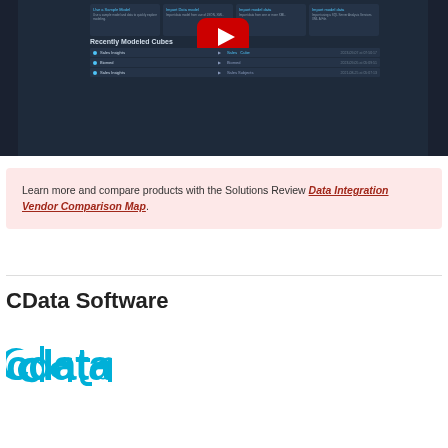[Figure (screenshot): Dark themed application screenshot showing a dashboard with cards for recently modeled cubes, and a YouTube play button overlay in the center.]
Learn more and compare products with the Solutions Review Data Integration Vendor Comparison Map.
CData Software
[Figure (logo): CData logo in cyan/teal color on white background]